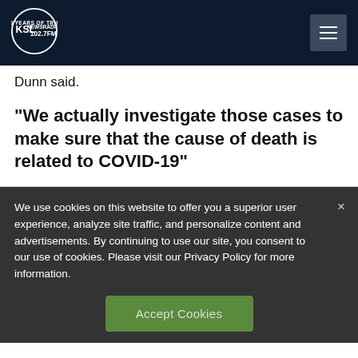KSL NewsRadio 102.7FM
Dunn said.
“We actually investigate those cases to make sure that the cause of death is related to COVID-19”
We use cookies on this website to offer you a superior user experience, analyze site traffic, and personalize content and advertisements. By continuing to use our site, you consent to our use of cookies. Please visit our Privacy Policy for more information.
Accept Cookies